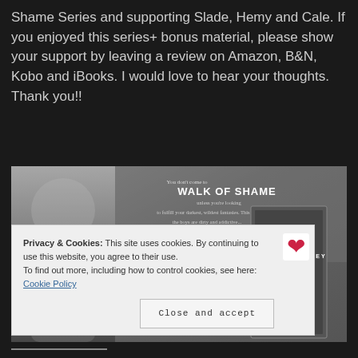Shame Series and supporting Slade, Hemy and Cale. If you enjoyed this series+ bonus material, please show your support by leaving a review on Amazon, B&N, Kobo and iBooks. I would love to hear your thoughts. Thank you!!
[Figure (photo): Book promotional banner for 'Walk of Shame' by Victoria Ashley. Shows a shirtless tattooed man on the left, with text overlay reading 'You don't come to WALK OF SHAME unless you're looking to fulfill your darkest, wildest fantasies. This place is dirty the boys are dirty and addictive...' and a book cover on the right showing 'VICTORIA ASHLEY' and 'SHAME'.]
Privacy & Cookies: This site uses cookies. By continuing to use this website, you agree to their use.
To find out more, including how to control cookies, see here: Cookie Policy
Close and accept